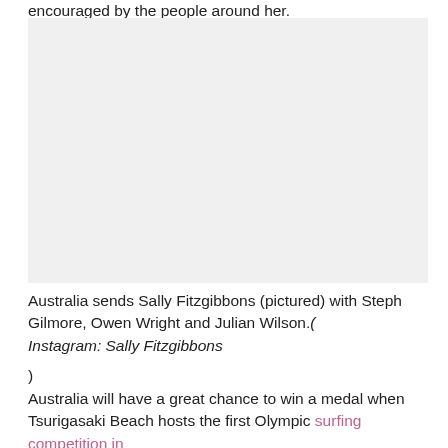encouraged by the people around her.
[Figure (photo): Photo of Sally Fitzgibbons with Steph Gilmore, Owen Wright and Julian Wilson, large blank/white area representing image placeholder]
Australia sends Sally Fitzgibbons (pictured) with Steph Gilmore, Owen Wright and Julian Wilson.(
Instagram: Sally Fitzgibbons

)
Australia will have a great chance to win a medal when Tsurigasaki Beach hosts the first Olympic surfing competition in